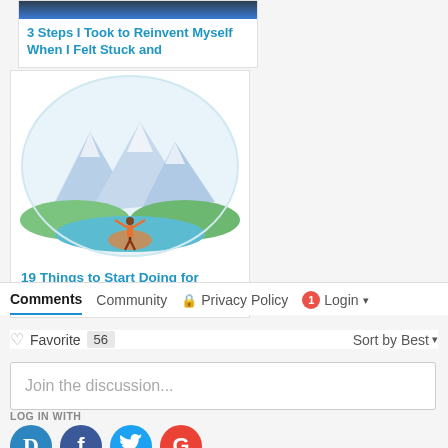[Figure (photo): Partial top image of article card 1, dark blue tones]
3 Steps I Took to Reinvent Myself When I Felt Stuck and
[Figure (illustration): Watercolor illustration of a person standing on a rock with arms raised, mountains and water in background, circular composition]
19 Things to Start Doing for Yourself in the New Year
Comments  Community  Privacy Policy  1  Login
Favorite  56  Sort by Best
Join the discussion...
LOG IN WITH
D  f  (twitter)  G